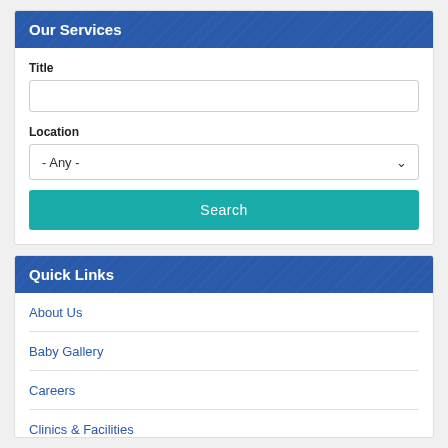Our Services
Title
Location
- Any -
Search
Quick Links
About Us
Baby Gallery
Careers
Clinics & Facilities